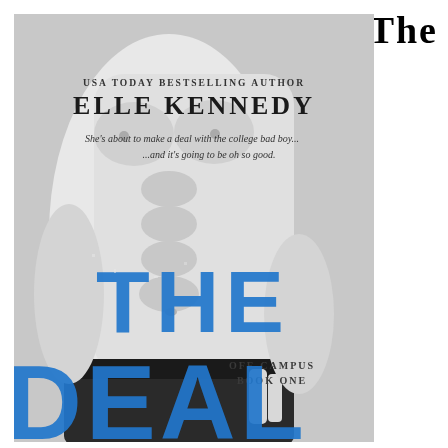The
[Figure (illustration): Book cover for 'The Deal' by Elle Kennedy. Black and white photo of a shirtless muscular man. Text on cover: 'USA TODAY BESTSELLING AUTHOR / ELLE KENNEDY / She's about to make a deal with the college bad boy... / ...and it's going to be oh so good.' Large blue distressed letters 'THE DEAL' across the cover. 'OFF-CAMPUS BOOK ONE' in smaller text.]